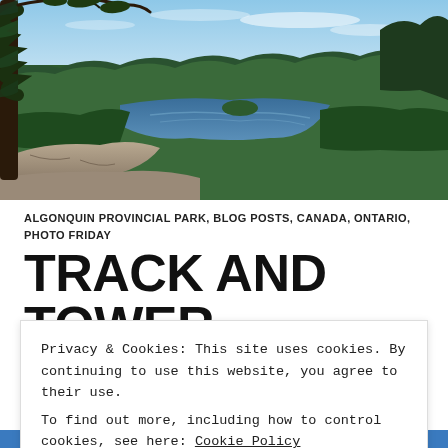[Figure (photo): Aerial landscape photo of a large lake surrounded by dense coniferous forest in Algonquin Provincial Park, taken from rocky outcrop with pine tree in foreground, blue sky with light clouds above.]
ALGONQUIN PROVINCIAL PARK, BLOG POSTS, CANADA, ONTARIO, PHOTO FRIDAY
TRACK AND TOWER TRAIL, ALGONQUIN PARK
Privacy & Cookies: This site uses cookies. By continuing to use this website, you agree to their use.
To find out more, including how to control cookies, see here: Cookie Policy
Close and accept